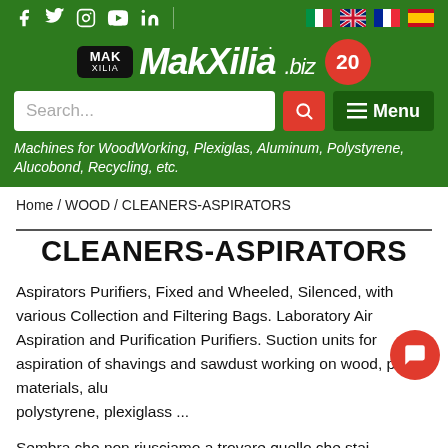MakXilia.biz website header with social icons, language flags, logo, search bar, menu button, and tagline: Machines for WoodWorking, Plexiglas, Aluminum, Polystyrene, Alucobond, Recycling, etc.
Home / WOOD / CLEANERS-ASPIRATORS
CLEANERS-ASPIRATORS
Aspirators Purifiers, Fixed and Wheeled, Silenced, with various Collection and Filtering Bags. Laboratory Air Aspiration and Purification Purifiers. Suction units for aspiration of shavings and sawdust working on wood, plastic materials, aluminum, polystyrene, plexiglass ...
Sembra che non riusciamo a trovare quello che stai cercando.